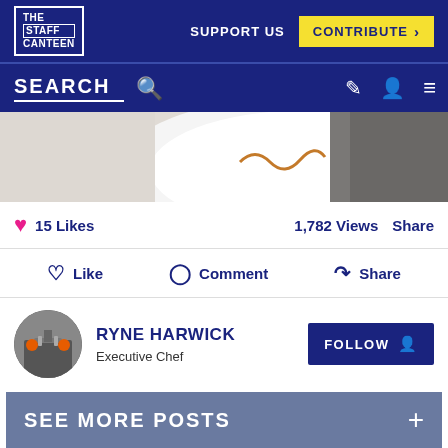THE STAFF CANTEEN
SUPPORT US  CONTRIBUTE >
SEARCH
[Figure (photo): Partial view of a plated dish on a white plate with a dark background]
15 Likes   1,782 Views   Share
Like   Comment   Share
RYNE HARWICK
Executive Chef
FOLLOW
SEE MORE POSTS  +